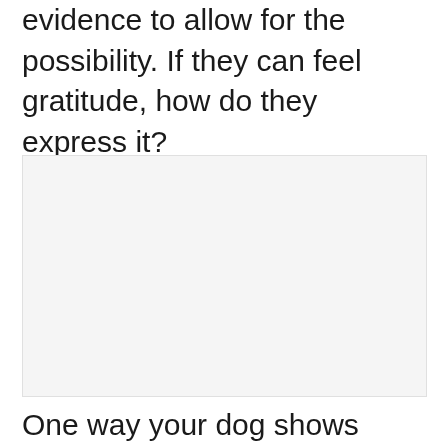evidence to allow for the possibility. If they can feel gratitude, how do they express it?
[Figure (photo): A blank/placeholder image area with light gray background]
One way your dog shows gratitude is with a